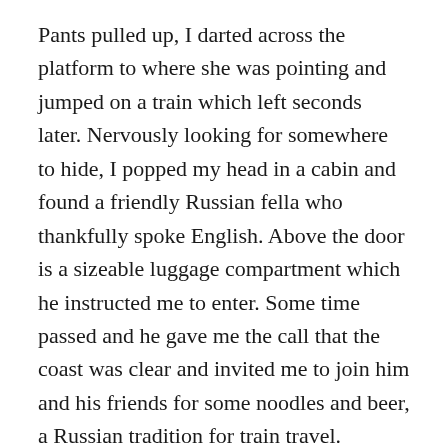Pants pulled up, I darted across the platform to where she was pointing and jumped on a train which left seconds later. Nervously looking for somewhere to hide, I popped my head in a cabin and found a friendly Russian fella who thankfully spoke English. Above the door is a sizeable luggage compartment which he instructed me to enter. Some time passed and he gave me the call that the coast was clear and invited me to join him and his friends for some noodles and beer, a Russian tradition for train travel.
We had a great chat and the hours flew by. I'm not quite sure who initiated it, but the journey